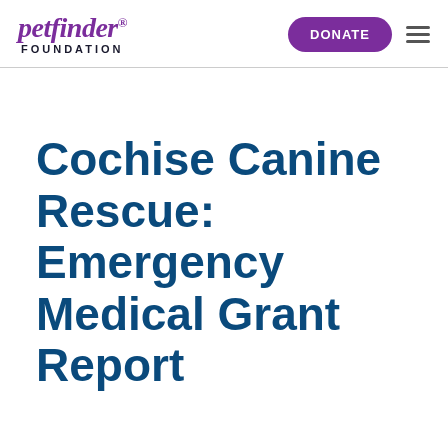petfinder FOUNDATION | DONATE
Cochise Canine Rescue: Emergency Medical Grant Report